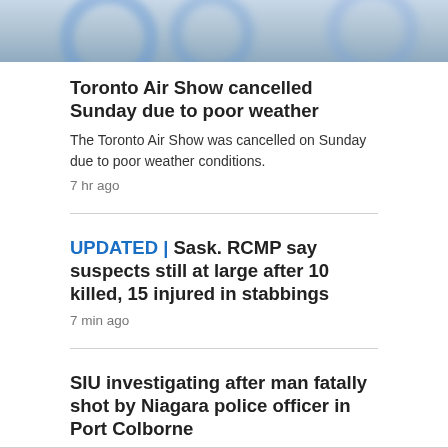[Figure (photo): Blurry photo showing blue circular ring shapes on a light background, cropped at top of page]
Toronto Air Show cancelled Sunday due to poor weather
The Toronto Air Show was cancelled on Sunday due to poor weather conditions.
7 hr ago
UPDATED | Sask. RCMP say suspects still at large after 10 killed, 15 injured in stabbings
7 min ago
SIU investigating after man fatally shot by Niagara police officer in Port Colborne
2 hr ago